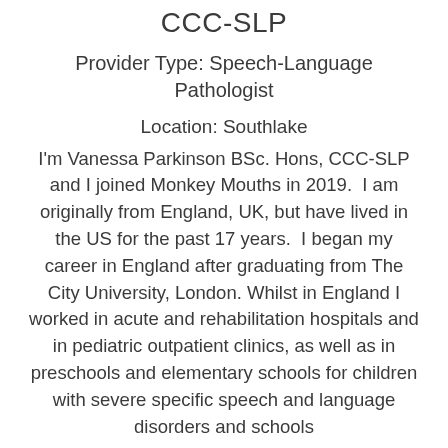CCC-SLP
Provider Type: Speech-Language Pathologist
Location: Southlake
I'm Vanessa Parkinson BSc. Hons, CCC-SLP and I joined Monkey Mouths in 2019.  I am originally from England, UK, but have lived in the US for the past 17 years.  I began my career in England after graduating from The City University, London. Whilst in England I worked in acute and rehabilitation hospitals and in pediatric outpatient clinics, as well as in preschools and elementary schools for children with severe specific speech and language disorders and schools